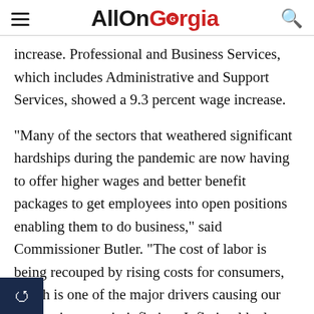AllOnGeorgia
increase. Professional and Business Services, which includes Administrative and Support Services, showed a 9.3 percent wage increase.
“Many of the sectors that weathered significant hardships during the pandemic are now having to offer higher wages and better benefit packages to get employees into open positions enabling them to do business,” said Commissioner Butler. “The cost of labor is being recouped by rising costs for consumers, which is one of the major drivers causing our current increase in inflation. Inflation l be long lasting, if not permanent, when driven